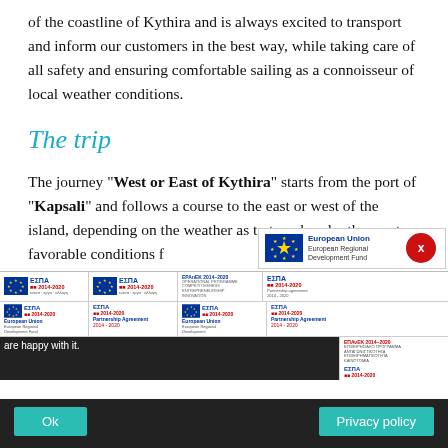of the coastline of Kythira and is always excited to transport and inform our customers in the best way, while taking care of all safety and ensuring comfortable sailing as a connoisseur of local weather conditions.
The trip
The journey "West or East of Kythira" starts from the port of "Kapsali" and follows a course to the east or west of the island, depending on the weather as to travel under the most favorable conditions for enjoyment. During the trip the boat st...
[Figure (logo): ESPA 2014-2020 logos grid with EU flags, European Union Regional Development Fund logos, EPAnEK operational programme logos, and Partnership Agreement 2014-2020 badges]
are happy with it.
Ok    Privacy policy